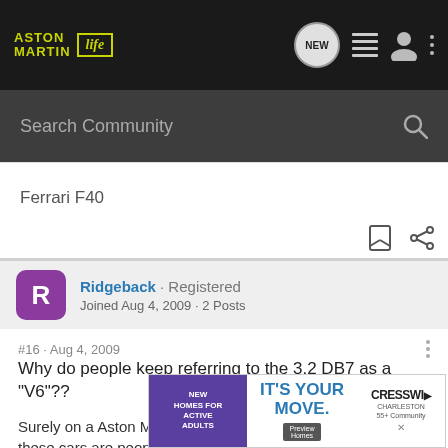Aston Martin Life - New · List · User · Menu
Search Community
Ferrari F40
Ridgeback · Registered · Joined Aug 4, 2009 · 2 Posts
#16 · Aug 4, 2009
Why do people keep referring to the 3.2 DB7 as a "V6"??
Surely on a Aston Martin forum people should know that these cars are... people w... DB...
[Figure (screenshot): Advertisement overlay: New Homes for Active Adults / IT'S YOUR MOVE. / Preview Homes / CRESSWIND Charleston 55+ Community]